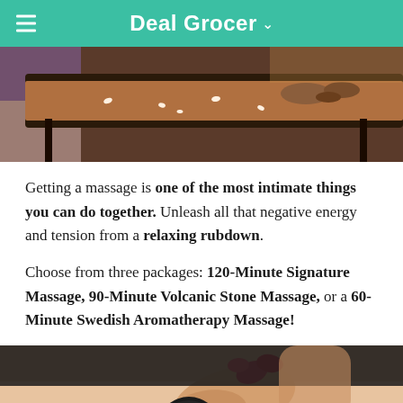Deal Grocer
[Figure (photo): Spa massage table with rolled towels and rose petals on a dark wooden surface, warm lighting]
Getting a massage is one of the most intimate things you can do together. Unleash all that negative energy and tension from a relaxing rubdown.
Choose from three packages: 120-Minute Signature Massage, 90-Minute Volcanic Stone Massage, or a 60-Minute Swedish Aromatherapy Massage!
[Figure (photo): Close-up of a person receiving a back massage with volcanic stones, hands of therapist visible]